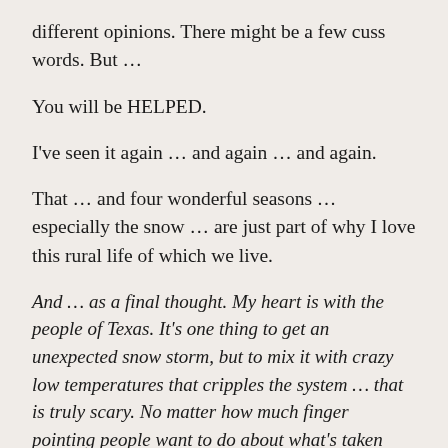different opinions. There might be a few cuss words. But …
You will be HELPED.
I've seen it again … and again … and again.
That … and four wonderful seasons … especially the snow … are just part of why I love this rural life of which we live.
And … as a final thought. My heart is with the people of Texas. It's one thing to get an unexpected snow storm, but to mix it with crazy low temperatures that cripples the system … that is truly scary. No matter how much finger pointing people want to do about what's taken place with the power grid shutting down … one thing has rung true for Texans as what we are experiencing here … people